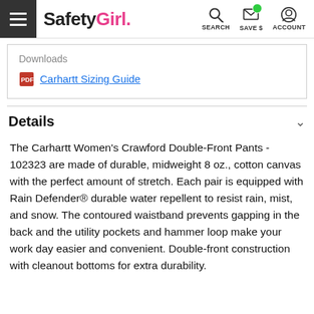SafetyGirl. SEARCH SAVE $ ACCOUNT
Downloads
Carhartt Sizing Guide
Details
The Carhartt Women's Crawford Double-Front Pants - 102323 are made of durable, midweight 8 oz., cotton canvas with the perfect amount of stretch. Each pair is equipped with Rain Defender® durable water repellent to resist rain, mist, and snow. The contoured waistband prevents gapping in the back and the utility pockets and hammer loop make your work day easier and convenient. Double-front construction with cleanout bottoms for extra durability.